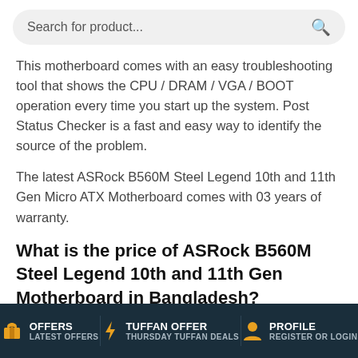Search for product...
This motherboard comes with an easy troubleshooting tool that shows the CPU / DRAM / VGA / BOOT operation every time you start up the system. Post Status Checker is a fast and easy way to identify the source of the problem.
The latest ASRock B560M Steel Legend 10th and 11th Gen Micro ATX Motherboard comes with 03 years of warranty.
What is the price of ASRock B560M Steel Legend 10th and 11th Gen Motherboard in Bangladesh?
The latest price of ASRock B560M Steel Legend 10th and 11th Gen Motherboard in Bangladesh is 14,500৳. You can buy the ASRock B560M Steel Legend 10th and 11th Gen Motherboard at best price from our website or visit any of
OFFERS LATEST OFFERS | TUFFAN OFFER THURSDAY TUFFAN DEALS | PROFILE REGISTER OR LOGIN